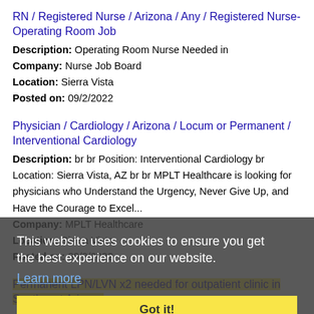RN / Registered Nurse / Arizona / Any / Registered Nurse-Operating Room Job
Description: Operating Room Nurse Needed in
Company: Nurse Job Board
Location: Sierra Vista
Posted on: 09/2/2022
Physician / Cardiology / Arizona / Locum or Permanent / Interventional Cardiology
Description: br br Position: Interventional Cardiology br Location: Sierra Vista, AZ br br MPLT Healthcare is looking for physicians who Understand the Urgency, Never Give Up, and Have the Courage to Excel...
Company: MPLT Healthcare
Location: Sierra Vista
Posted on: 09/2/2022
Permanent LPN/LVN x2 needed for outpatient clinic in Southeast Arizona
Description: Only QUALIFIED Healthcare Professionals accepted Ambulatory Care-LPN/LVN/RPN - Level III ER 100-bed newly- renovated hospital located in the beautiful high desert of Southe...
This website uses cookies to ensure you get the best experience on our website.
Learn more
Got it!